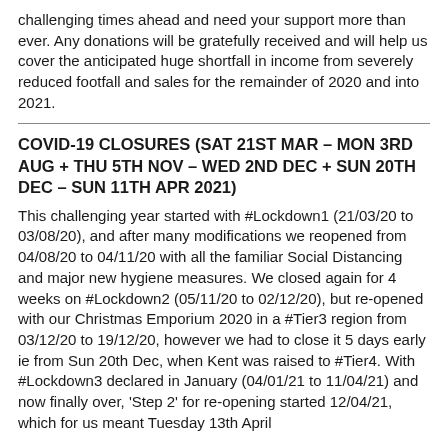challenging times ahead and need your support more than ever. Any donations will be gratefully received and will help us cover the anticipated huge shortfall in income from severely reduced footfall and sales for the remainder of 2020 and into 2021.
COVID-19 CLOSURES (SAT 21ST MAR – MON 3RD AUG + THU 5TH NOV – WED 2ND DEC + SUN 20TH DEC – SUN 11TH APR 2021)
This challenging year started with #Lockdown1 (21/03/20 to 03/08/20), and after many modifications we reopened from 04/08/20 to 04/11/20 with all the familiar Social Distancing and major new hygiene measures. We closed again for 4 weeks on #Lockdown2 (05/11/20 to 02/12/20), but re-opened with our Christmas Emporium 2020 in a #Tier3 region from 03/12/20 to 19/12/20, however we had to close it 5 days early ie from Sun 20th Dec, when Kent was raised to #Tier4. With #Lockdown3 declared in January (04/01/21 to 11/04/21) and now finally over, 'Step 2' for re-opening started 12/04/21, which for us meant Tuesday 13th April